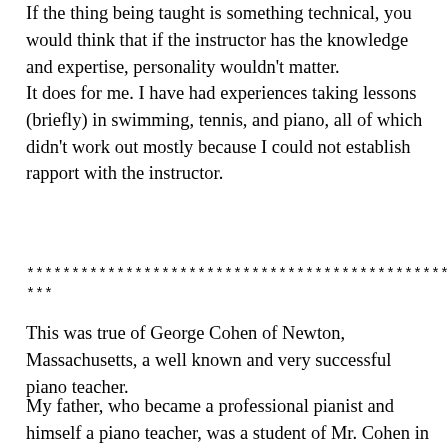If the thing being taught is something technical, you would think that if the instructor has the knowledge and expertise, personality wouldn't matter.
It does for me. I have had experiences taking lessons (briefly) in swimming, tennis, and piano, all of which didn't work out mostly because I could not establish rapport with the instructor.
***************************************************
This was true of George Cohen of Newton, Massachusetts, a well known and very successful piano teacher.
My father, who became a professional pianist and himself a piano teacher, was a student of Mr. Cohen in his youth. My